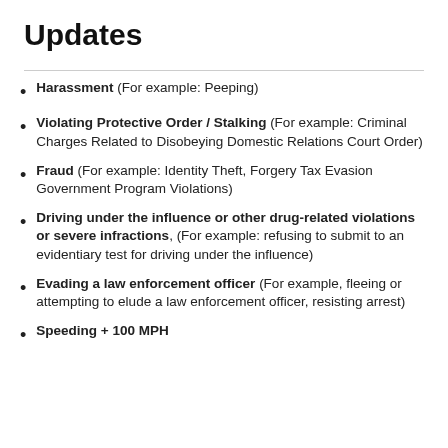Updates
Harassment (For example: Peeping)
Violating Protective Order / Stalking (For example: Criminal Charges Related to Disobeying Domestic Relations Court Order)
Fraud (For example: Identity Theft, Forgery Tax Evasion Government Program Violations)
Driving under the influence or other drug-related violations or severe infractions, (For example: refusing to submit to an evidentiary test for driving under the influence)
Evading a law enforcement officer (For example, fleeing or attempting to elude a law enforcement officer, resisting arrest)
Speeding + 100 MPH